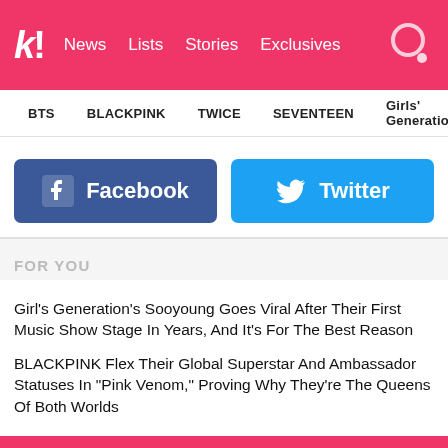k! News Lists Stories Exclusives
BTS BLACKPINK TWICE SEVENTEEN Girls' Generation
[Figure (other): Facebook and Twitter social share buttons]
FOR YOU
Girl's Generation's Sooyoung Goes Viral After Their First Music Show Stage In Years, And It's For The Best Reason
BLACKPINK Flex Their Global Superstar And Ambassador Statuses In "Pink Venom," Proving Why They're The Queens Of Both Worlds